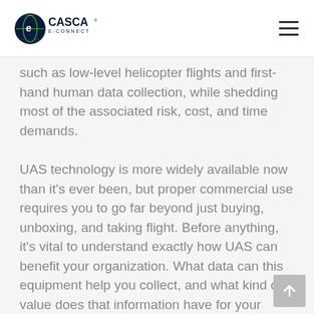CASCA E-CONNECT
such as low-level helicopter flights and first-hand human data collection, while shedding most of the associated risk, cost, and time demands.
UAS technology is more widely available now than it's ever been, but proper commercial use requires you to go far beyond just buying, unboxing, and taking flight. Before anything, it's vital to understand exactly how UAS can benefit your organization. What data can this equipment help you collect, and what kind of value does that information have for your business?